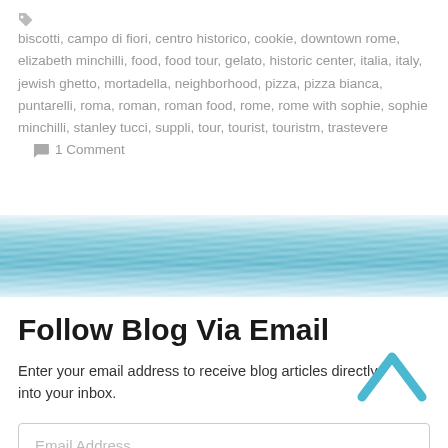biscotti, campo di fiori, centro historico, cookie, downtown rome, elizabeth minchilli, food, food tour, gelato, historic center, italia, italy, jewish ghetto, mortadella, neighborhood, pizza, pizza bianca, puntarelli, roma, roman, roman food, rome, rome with sophie, sophie minchilli, stanley tucci, suppli, tour, tourist, touristm, trastevere   1 Comment
[Figure (photo): Water/ocean texture divider banner]
Follow Blog Via Email
Enter your email address to receive blog articles directly into your inbox.